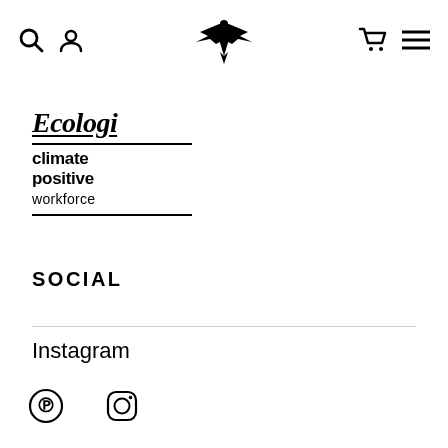Navigation header with search, account, logo, cart, and menu icons
[Figure (logo): Ecologi climate positive workforce badge logo with italic script text and bold sans-serif text]
SOCIAL
Instagram
[Figure (infographic): Pinterest and Instagram social media icons]